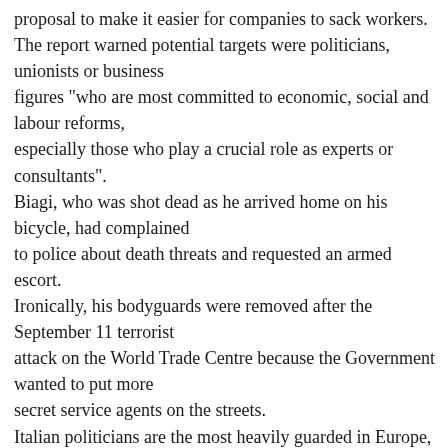proposal to make it easier for companies to sack workers. The report warned potential targets were politicians, unionists or business figures "who are most committed to economic, social and labour reforms, especially those who play a crucial role as experts or consultants". Biagi, who was shot dead as he arrived home on his bicycle, had complained to police about death threats and requested an armed escort. Ironically, his bodyguards were removed after the September 11 terrorist attack on the World Trade Centre because the Government wanted to put more secret service agents on the streets. Italian politicians are the most heavily guarded in Europe, with 6000 bodyguards at a cost of $1 billion a year. Biagi's widow, angry that the Government had refused her family's request for protection, spurned the offer of a state funeral in favour of a private family service in Bologna today. Up to 80,000 people marched in Bologna on Wednesday to mourn Biagi's death and protest against terrorism.